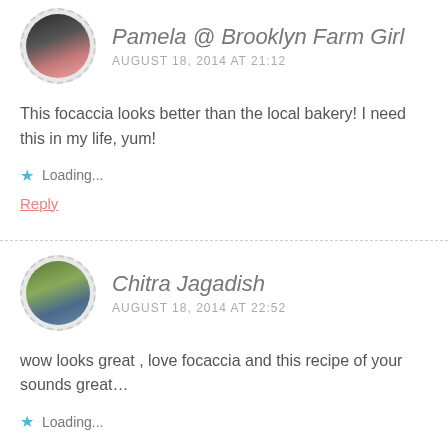[Figure (photo): Circular avatar photo of Pamela, a woman with dark hair and bangs, with dashed circular border]
Pamela @ Brooklyn Farm Girl
AUGUST 18, 2014 AT 21:12
This focaccia looks better than the local bakery! I need this in my life, yum!
Loading...
Reply
[Figure (photo): Circular avatar photo of Chitra Jagadish, a woman outdoors in a green landscape, with dashed circular border]
Chitra Jagadish
AUGUST 18, 2014 AT 22:52
wow looks great , love focaccia and this recipe of your sounds great…
Loading...